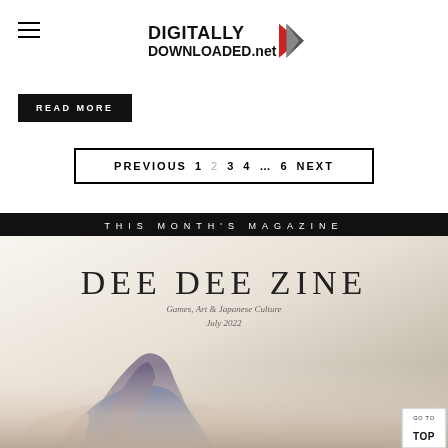Digitally Downloaded.net
READ MORE
PREVIOUS  1  2  3  4  ...  6  NEXT
THIS MONTH'S MAGAZINE
[Figure (illustration): Dee Dee Zine magazine cover — Games, Art & Japanese Culture, July 2022, with anime character illustration]